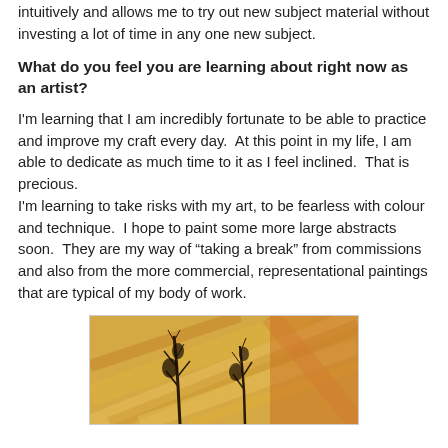intuitively and allows me to try out new subject material without investing a lot of time in any one new subject.
What do you feel you are learning about right now as an artist?
I'm learning that I am incredibly fortunate to be able to practice and improve my craft every day.  At this point in my life, I am able to dedicate as much time to it as I feel inclined.  That is precious.
I'm learning to take risks with my art, to be fearless with colour and technique.  I hope to paint some more large abstracts soon.  They are my way of “taking a break” from commissions and also from the more commercial, representational paintings that are typical of my body of work.
[Figure (photo): Abstract painting with warm golden/orange tones showing tree branches against a textured background with diagonal brushstrokes]